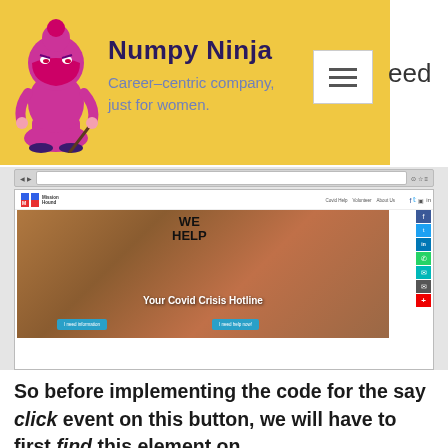[Figure (screenshot): Numpy Ninja website header with logo (cartoon ninja character in pink/purple on yellow background), brand name 'Numpy Ninja', tagline 'Career-centric company, just for women.', hamburger menu icon, and partial text 'eed']
[Figure (screenshot): Browser screenshot of a website called 'Mission Hound' showing a Covid Crisis Hotline page with a hero image of an open hand with 'WE HELP' written on it, text 'Your Covid Crisis Hotline', two blue CTA buttons ('I need information' and 'I need help now!'), and a social media sidebar]
So before implementing the code for the say click event on this button, we will have to first find this element on the web page. So, how we are going to find the element so that we can carry on with our actions?